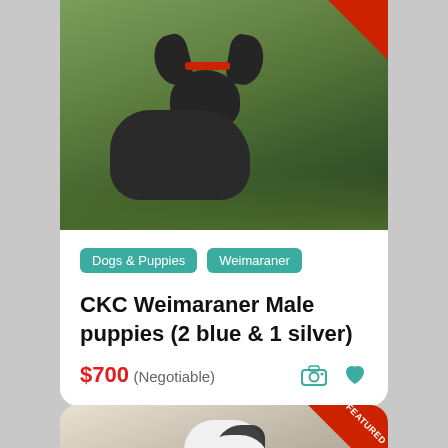[Figure (photo): Photo of a dark grey/blue Weimaraner puppy with a red collar, sitting on grass outdoors. Red triangle badge in top-right corner.]
Dogs & Puppies
Weimaraner
CKC Weimaraner Male puppies (2 blue & 1 silver)
$700 (Negotiable)
[Figure (photo): Photo of a black and white fluffy puppy (possibly Shih Tzu) in a basket of colorful flowers. Red FEATURED triangle badge in top-right corner.]